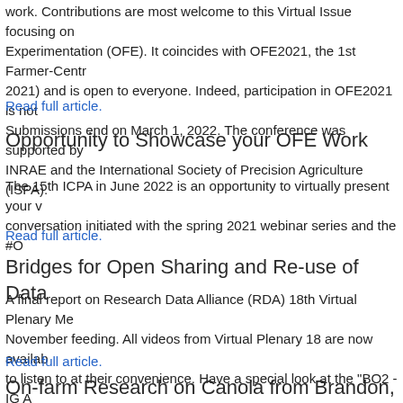work. Contributions are most welcome to this Virtual Issue focusing on Open-Field Experimentation (OFE). It coincides with OFE2021, the 1st Farmer-Centric Conference (November 2021) and is open to everyone. Indeed, participation in OFE2021 is not mandatory. Submissions end on March 1, 2022. The conference was supported by Arvalis, INRAE and the International Society of Precision Agriculture (ISPA).
Read full article.
Opportunity to Showcase your OFE Work
The 15th ICPA in June 2022 is an opportunity to virtually present your work and continue a conversation initiated with the spring 2021 webinar series and the #O...
Read full article.
Bridges for Open Sharing and Re-use of Data
A final report on Research Data Alliance (RDA) 18th Virtual Plenary Meeting held in November feeding. All videos from Virtual Plenary 18 are now available for members to listen to at their convenience. Have a special look at the "BO2 - IG A roadmap for our CoP" broadcast.
Read full article.
On-farm Research on Canola from Brandon, M
Two papers on canola featuring on-farm research: Khakbazan, M., M...